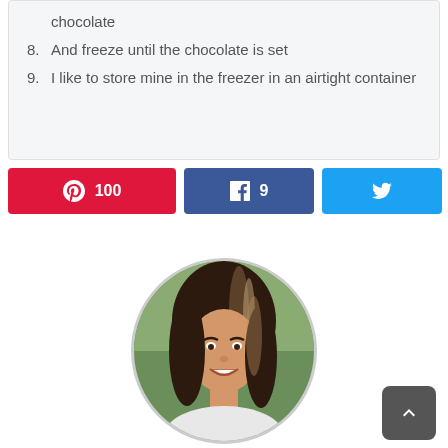chocolate
8. And freeze until the chocolate is set
9. I like to store mine in the freezer in an airtight container
[Figure (infographic): Social share buttons row: Pinterest (100), Facebook (9), Twitter, and share count 109 SHARES]
[Figure (photo): Circular profile photo of a smiling woman with dark hair and highlights, outdoors background]